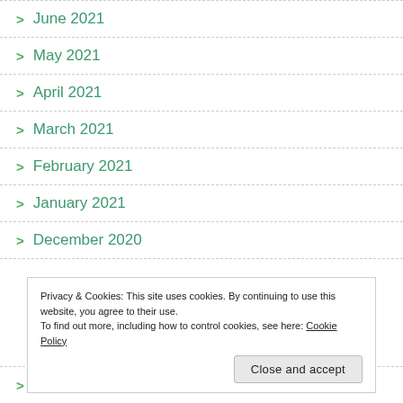June 2021
May 2021
April 2021
March 2021
February 2021
January 2021
December 2020
Privacy & Cookies: This site uses cookies. By continuing to use this website, you agree to their use.
To find out more, including how to control cookies, see here: Cookie Policy
September 2020